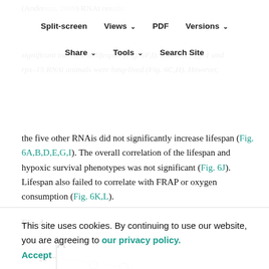(Anderson, 2009) RNAi results: significant increase in lifespan (Fig. 6F,I). Likewise, ifg-1 and rps-15 RNAi animals were long-lived (Fig. 6C,H). However,
the five other RNAis did not significantly increase lifespan (Fig. 6A,B,D,E,G,I). The overall correlation of the lifespan and hypoxic survival phenotypes was not significant (Fig. 6J). Lifespan also failed to correlate with FRAP or oxygen consumption (Fig. 6K,L).
Fig. 4.
[Figure (continuous-plot): Partial view of Figure 4 panel A, showing y-axis with tick at 15, and partial scatter/line plot area below]
This site uses cookies. By continuing to use our website, you are agreeing to our privacy policy. Accept